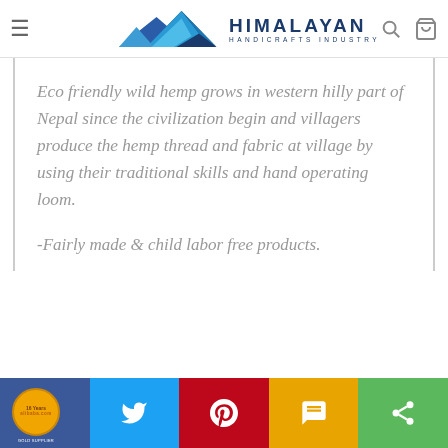Himalayan Handicrafts Industry
Eco friendly wild hemp grows in western hilly part of Nepal since the civilization begin and villagers produce the hemp thread and fabric at village by using their traditional skills and hand operating loom.
-Fairly made & child labor free products.
Social share bar: Facebook, Twitter, Pinterest, SMS, Share